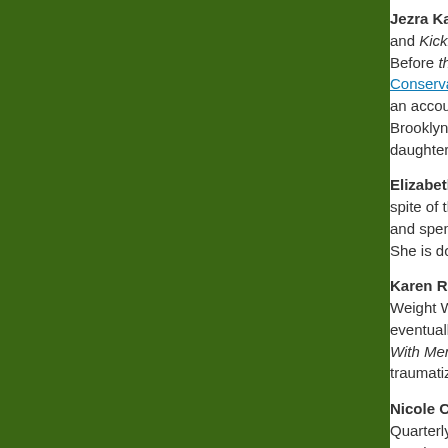Jezra Kaye is the and Kicking: Love Before that, she wa Conservatory of M an accounts receiv Brooklyn Supreme daughter.
Elizabeth Laura N spite of the fact tha and spends many She is doing the be
Karen Ritter has s Weight Watchers. eventually created With Men, and emb traumatized by the
Nicole Callihan w Quarterly, Salt Hill, translated into Ger she was named as the Net 2010 for fic